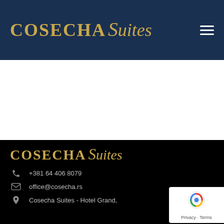Cosecha Suites
[Figure (logo): Cosecha Suites logo in gold on dark navy header bar with hamburger menu icon on right]
[Figure (logo): Cosecha Suites logo in gold on black footer area]
+381 64 406 8079
office@cosecha.rs
Cosecha Suites - Hotel Grand,